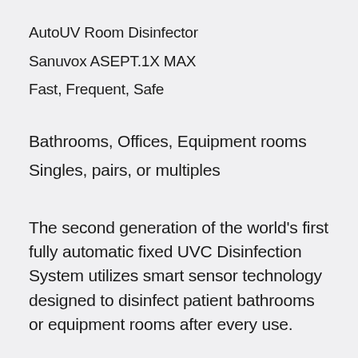AutoUV Room Disinfector
Sanuvox ASEPT.1X MAX
Fast, Frequent, Safe
Bathrooms, Offices, Equipment rooms
Singles, pairs, or multiples
The second generation of the world’s first fully automatic fixed UVC Disinfection System utilizes smart sensor technology designed to disinfect patient bathrooms or equipment rooms after every use.